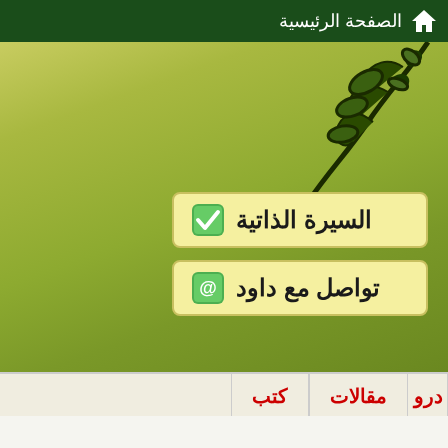الصفحة الرئيسية
[Figure (illustration): Decorative dark green floral/vine design on olive-green gradient background]
السيرة الذاتية
تواصل مع داود
كتب
مقالات
درو